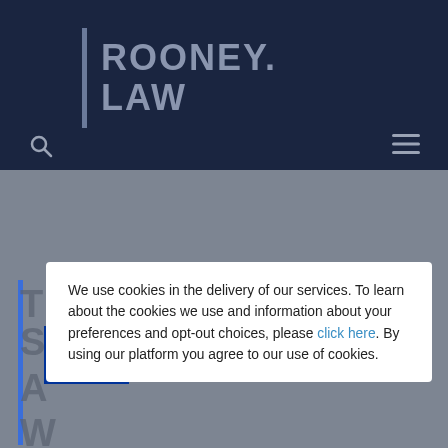[Figure (logo): Rooney.Law logo — vertical bar followed by 'ROONEY. LAW' in bold text on dark navy background]
We use cookies in the delivery of our services. To learn about the cookies we use and information about your preferences and opt-out choices, please click here. By using our platform you agree to our use of cookies.